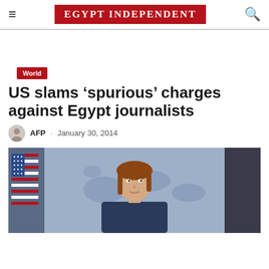EGYPT INDEPENDENT
World
US slams ‘spurious’ charges against Egypt journalists
AFP · January 30, 2014
[Figure (photo): A woman with reddish-brown hair standing in front of a background showing an American flag and a world map backdrop, appearing to be at a government press briefing podium area.]